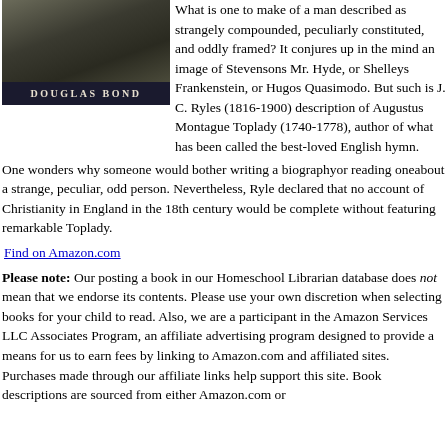[Figure (photo): Photo of Douglas Bond author, dark toned portrait image]
What is one to make of a man described as strangely compounded, peculiarly constituted, and oddly framed? It conjures up in the mind an image of Stevensons Mr. Hyde, or Shelleys Frankenstein, or Hugos Quasimodo. But such is J. C. Ryles (1816-1900) description of Augustus Montague Toplady (1740-1778), author of what has been called the best-loved English hymn. One wonders why someone would bother writing a biographyor reading oneabout a strange, peculiar, odd person. Nevertheless, Ryle declared that no account of Christianity in England in the 18th century would be complete without featuring remarkable Toplady.
Find on Amazon.com
Please note: Our posting a book in our Homeschool Librarian database does not mean that we endorse its contents. Please use your own discretion when selecting books for your child to read. Also, we are a participant in the Amazon Services LLC Associates Program, an affiliate advertising program designed to provide a means for us to earn fees by linking to Amazon.com and affiliated sites. Purchases made through our affiliate links help support this site. Book descriptions are sourced from either Amazon.com or